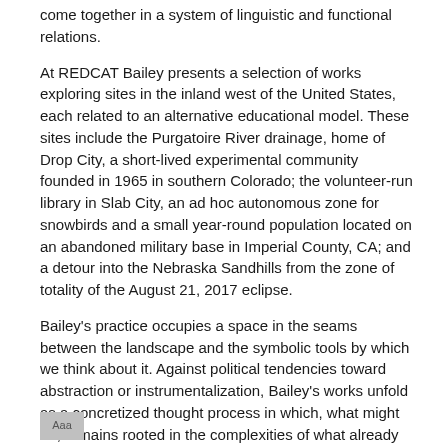come together in a system of linguistic and functional relations.
At REDCAT Bailey presents a selection of works exploring sites in the inland west of the United States, each related to an alternative educational model. These sites include the Purgatoire River drainage, home of Drop City, a short-lived experimental community founded in 1965 in southern Colorado; the volunteer-run library in Slab City, an ad hoc autonomous zone for snowbirds and a small year-round population located on an abandoned military base in Imperial County, CA; and a detour into the Nebraska Sandhills from the zone of totality of the August 21, 2017 eclipse.
Bailey's practice occupies a space in the seams between the landscape and the symbolic tools by which we think about it. Against political tendencies toward abstraction or instrumentalization, Bailey's works unfold as a concretized thought process in which, what might be, remains rooted in the complexities of what already is.
Hardscrabble is organized by Sohrab Mohebbi
Funded in part with generous support from The Andy Warhol Foundation for the Visual Arts.
[Figure (logo): Small gray logo box at bottom left]